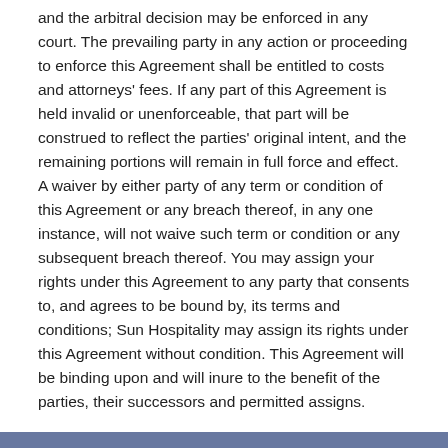and the arbitral decision may be enforced in any court. The prevailing party in any action or proceeding to enforce this Agreement shall be entitled to costs and attorneys' fees. If any part of this Agreement is held invalid or unenforceable, that part will be construed to reflect the parties' original intent, and the remaining portions will remain in full force and effect. A waiver by either party of any term or condition of this Agreement or any breach thereof, in any one instance, will not waive such term or condition or any subsequent breach thereof. You may assign your rights under this Agreement to any party that consents to, and agrees to be bound by, its terms and conditions; Sun Hospitality may assign its rights under this Agreement without condition. This Agreement will be binding upon and will inure to the benefit of the parties, their successors and permitted assigns.
Browse Our Site
Who We Are